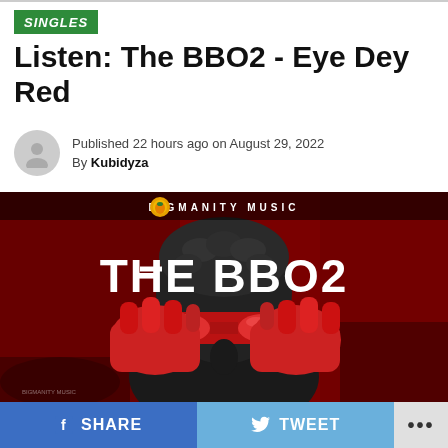SINGLES
Listen: The BBO2 - Eye Dey Red
Published 22 hours ago on August 29, 2022
By Kubidyza
[Figure (photo): Album art for The BBO2 - Eye Dey Red by Bigmanity Music. A figure wearing red goggles and red gloves holds their hands up to their face against a red background. Text reads 'THE BBO2' in large white letters and 'BIGMANITY MUSIC' at the top.]
SHARE   TWEET   ...